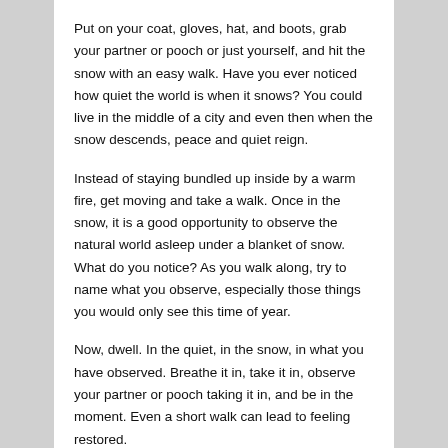Put on your coat, gloves, hat, and boots, grab your partner or pooch or just yourself, and hit the snow with an easy walk. Have you ever noticed how quiet the world is when it snows? You could live in the middle of a city and even then when the snow descends, peace and quiet reign.
Instead of staying bundled up inside by a warm fire, get moving and take a walk. Once in the snow, it is a good opportunity to observe the natural world asleep under a blanket of snow. What do you notice? As you walk along, try to name what you observe, especially those things you would only see this time of year.
Now, dwell. In the quiet, in the snow, in what you have observed. Breathe it in, take it in, observe your partner or pooch taking it in, and be in the moment. Even a short walk can lead to feeling restored.
Further, when you return home, you can take your observations, musings, and other thoughts here and there